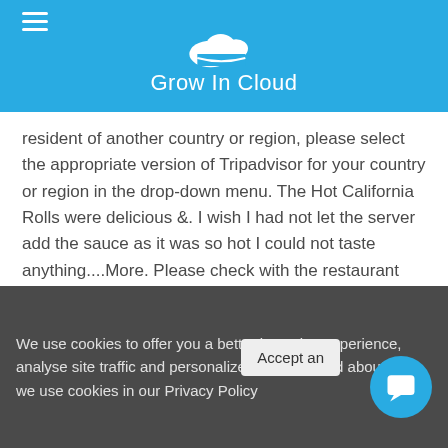Grow In Cloud
resident of another country or region, please select the appropriate version of Tripadvisor for your country or region in the drop-down menu. The Hot California Rolls were delicious &. I wish I had not let the server add the sauce as it was so hot I could not taste anything....More. Please check with the restaurant directly. The restaurant was totally packed for a Monday night but the staff all worked together really smoothly! Glass bubbles floating from the ceiling.
We rank these hotels, restaurants, and attractions by balancing reviews from our members with how close they are to this location. I'm so happy to have another delicious, flavorful and fun place to eat in
We use cookies to offer you a better browsing experience, analyse site traffic and personalize content. Read about how we use cookies in our Privacy Policy